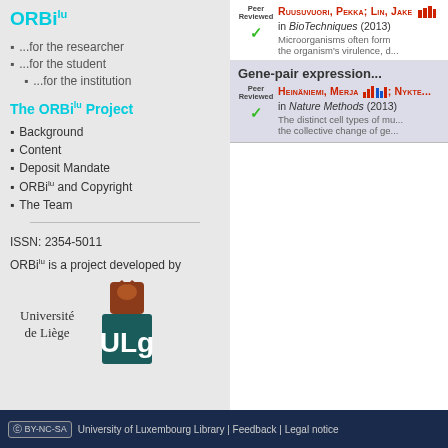ORBilu
...for the researcher
...for the student
...for the institution
The ORBilu Project
Background
Content
Deposit Mandate
ORBilu and Copyright
The Team
ISSN: 2354-5011
ORBilu is a project developed by
[Figure (logo): Université de Liège (ULg) logo with text and shield emblem]
RUUSUVUORI, PEKKA; LIN, JAKE ...
in BioTechniques (2013)
Microorganisms often form... the organism's virulence, d...
Gene-pair expression...
HEINÄNIEMI, MERJA ...; NYKTE...
in Nature Methods (2013)
The distinct cell types of mu... the collective change of ge...
University of Luxembourg Library | Feedback | Legal notice